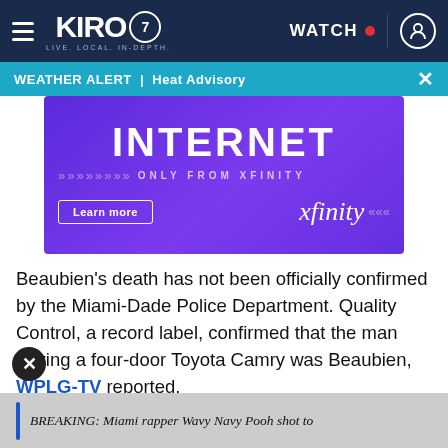KIRO 7 — LIVE. LOCAL. IN-DEPTH. | WATCH
WEATHER ALERT | Heat Advisory
[Figure (screenshot): Xfinity advertisement banner with purple background, large text 'INTERNET', subtitle 'ONLY FROM XFINITY', a 'Learn more' button, and the xfinity logo]
Beaubien's death has not been officially confirmed by the Miami-Dade Police Department. Quality Control, a record label, confirmed that the man driving a four-door Toyota Camry was Beaubien, WPLG-TV reported.
BREAKING: Miami rapper Wavy Navy Pooh shot to